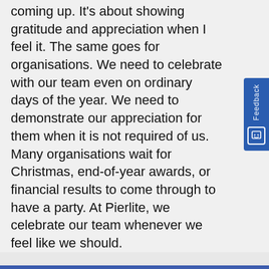coming up. It's about showing gratitude and appreciation when I feel it. The same goes for organisations. We need to celebrate with our team even on ordinary days of the year. We need to demonstrate our appreciation for them when it is not required of us. Many organisations wait for Christmas, end-of-year awards, or financial results to come through to have a party. At Pierlite, we celebrate our team whenever we feel like we should.
I've talked before about the four essential happiness chemicals humans need to function at their best – dopamine, oxytocin, endorphins, and